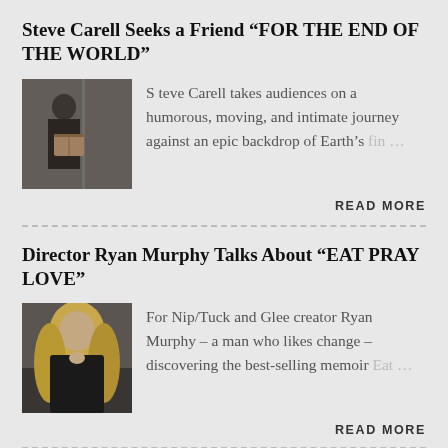Steve Carell Seeks a Friend “FOR THE END OF THE WORLD”
[Figure (photo): Steve Carell holding a box, standing in a doorway]
Steve Carell takes audiences on a humorous, moving, and intimate journey against an epic backdrop of Earth’s fin…
READ MORE
Director Ryan Murphy Talks About “EAT PRAY LOVE”
[Figure (photo): Woman with long blonde hair eating at a restaurant]
For Nip/Tuck and Glee creator Ryan Murphy – a man who likes change – discovering the best-selling memoir Eat…
READ MORE